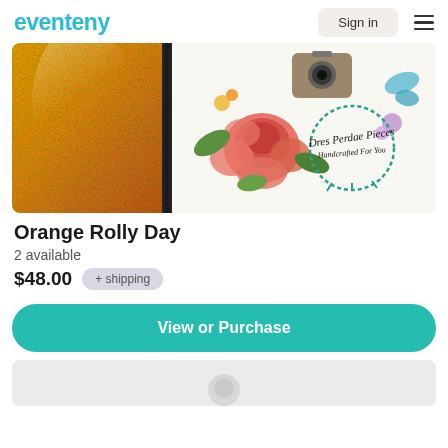eventeny | Sign in
[Figure (photo): Product photo of Orange Rolly Day item — a wallet/pouch with glittery gold/orange left side and illustrated floral design on right side featuring roses, a camera, butterflies, with a teal circular logo stamp reading 'Dres Perdae Pieces Handcrafted For You']
Orange Rolly Day
2 available
$48.00  + shipping
View or Purchase